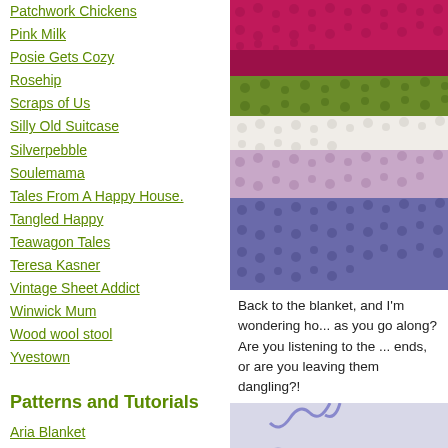Patchwork Chickens
Pink Milk
Posie Gets Cozy
Rosehip
Scraps of Us
Silly Old Suitcase
Silverpebble
Soulemama
Tales From A Happy House.
Tangled Happy
Teawagon Tales
Teresa Kasner
Vintage Sheet Addict
Winwick Mum
Wood wool stool
Yvestown
Patterns and Tutorials
Aria Blanket
Attic24 Mandala Wheel
Autumn Leaves and Acorns
Baby Bunting
Bauble Decoration
Birdie Decoration
Blooming Flower Cushion
[Figure (photo): Close-up of striped crochet blanket with rows of pink/raspberry, green, white, lilac, and purple colors]
Back to the blanket, and I'm wondering ho... as you go along? Are you listening to the ... ends, or are you leaving them dangling?!
[Figure (photo): Close-up of light blue/periwinkle crochet work with a metal crochet hook visible]